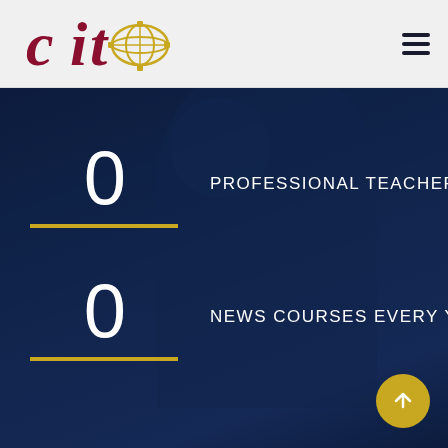[Figure (logo): CITb organization logo with gear/globe icon in dark red and gold colors]
0
PROFESSIONAL TEACHER
0
NEWS COURSES EVERY YEARS